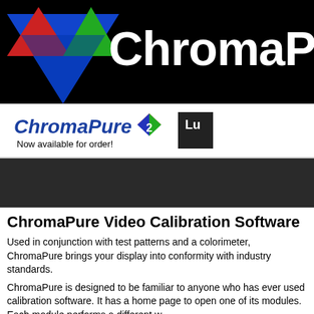[Figure (logo): ChromaPure banner with black background, colored triangles (red, green, blue) on left and large white ChromaPu text on right]
[Figure (logo): ChromaPure 2 logo with blue italic text, version 2 badge triangle (red/green/blue), and 'Now available for order!' subtitle]
[Figure (other): Dark gray navigation bar]
ChromaPure Video Calibration Software
Used in conjunction with test patterns and a colorimeter, ChromaPure brings your display into conformity with industry standards.
ChromaPure is designed to be familiar to anyone who has ever used calibration software. It has a home page to open one of its modules. Each module performs a different w
These include:
Grayscale
Gamma